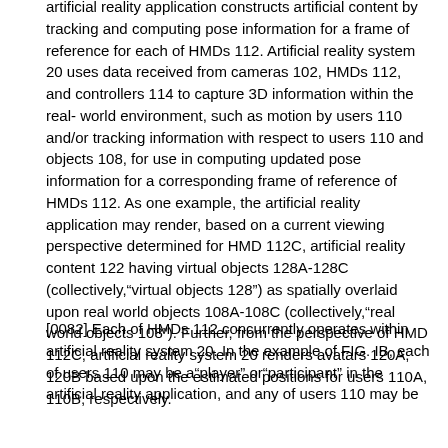artificial reality application constructs artificial content by tracking and computing pose information for a frame of reference for each of HMDs 112. Artificial reality system 20 uses data received from cameras 102, HMDs 112, and controllers 114 to capture 3D information within the real-world environment, such as motion by users 110 and/or tracking information with respect to users 110 and objects 108, for use in computing updated pose information for a corresponding frame of reference of HMDs 112. As one example, the artificial reality application may render, based on a current viewing perspective determined for HMD 112C, artificial reality content 122 having virtual objects 128A-128C (collectively,"virtual objects 128") as spatially overlaid upon real world objects 108A-108C (collectively,"real world objects 108"). Further, from the perspective of HMD 112C, artificial reality system 20 renders avatars 120A, 120B based upon the estimated positions for users 110A, 110B, respectively.
[0082] Each of HMDs 112 concurrently operates within artificial reality system 20. In the example of FIG. IB, each of users 110 may be a"player" or"participant" in the artificial reality application, and any of users 110 may be